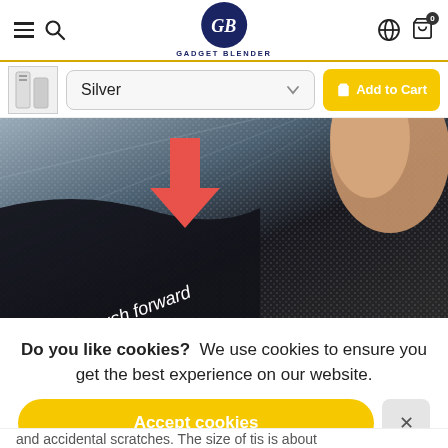Gadget Blender — navigation header with hamburger menu, search, logo, globe icon, cart (0)
Silver — Add to Cart
[Figure (photo): Close-up photo of a hand pushing forward a piece of fabric/textile with a red arrow pointing downward and text 'Push forward' written in white italic on dark fabric]
Do you like cookies?  We use cookies to ensure you get the best experience on our website.
Accept cookies
and accidental scratches. The size of tis is about